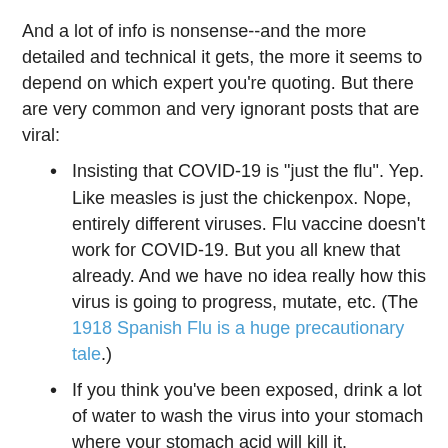And a lot of info is nonsense--and the more detailed and technical it gets, the more it seems to depend on which expert you're quoting. But there are very common and very ignorant posts that are viral:
Insisting that COVID-19 is "just the flu". Yep. Like measles is just the chickenpox. Nope, entirely different viruses. Flu vaccine doesn't work for COVID-19. But you all knew that already. And we have no idea really how this virus is going to progress, mutate, etc. (The 1918 Spanish Flu is a huge precautionary tale.)
If you think you've been exposed, drink a lot of water to wash the virus into your stomach where your stomach acid will kill it.  (Whaaaaa? Seriously? Avoid getting a virus by DRINKING it???)
If you think you've been exposed, take a slow deep breath; if it doesn't make you cough, you're good, otherwise your lungs are already infected with fibrosis. (I can't even… I mean….)